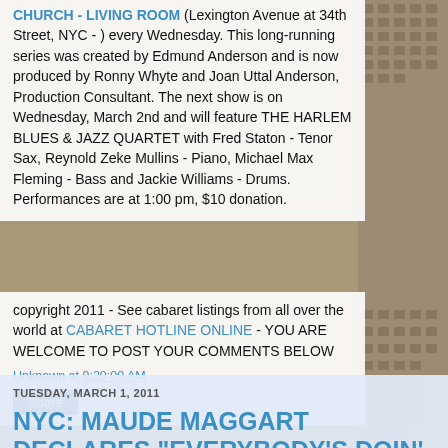CHURCH - LIVING ROOM (Lexington Avenue at 34th Street, NYC - ) every Wednesday. This long-running series was created by Edmund Anderson and is now produced by Ronny Whyte and Joan Uttal Anderson, Production Consultant. The next show is on Wednesday, March 2nd and will feature THE HARLEM BLUES & JAZZ QUARTET with Fred Staton - Tenor Sax, Reynold Zeke Mullins - Piano, Michael Max Fleming - Bass and Jackie Williams - Drums. Performances are at 1:00 pm, $10 donation.
copyright 2011 - See cabaret listings from all over the world at CABARET HOTLINE ONLINE - YOU ARE WELCOME TO POST YOUR COMMENTS BELOW
Unknown at 9:20:00 AM
Share
TUESDAY, MARCH 1, 2011
NYC: MAUDE MAGGART DECLARES "EVERYBODY'S DOIN' IT" THROUGH MARCH 13th